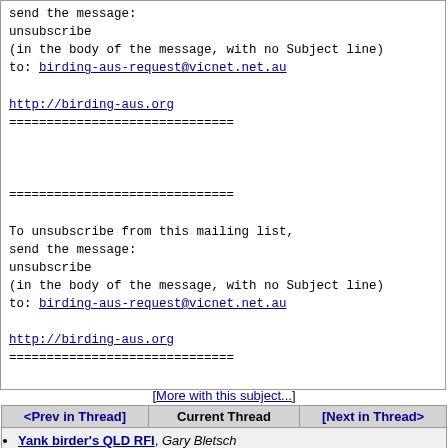send the message:
unsubscribe
(in the body of the message, with no Subject line)
to: birding-aus-request@vicnet.net.au

http://birding-aus.org
==============================



==============================

To unsubscribe from this mailing list,
send the message:
unsubscribe
(in the body of the message, with no Subject line)
to: birding-aus-request@vicnet.net.au

http://birding-aus.org
==============================
[More with this subject...]
| <Prev in Thread> | Current Thread | [Next in Thread> |
| --- | --- | --- |
| • Yank birder's QLD RFI, Gary Bletsch
  ◦ Yank birder's QLD RFI, Nikolas Haass <=
  ◦ Re:Yank birder's QLD RFI, tim morris |  |  |